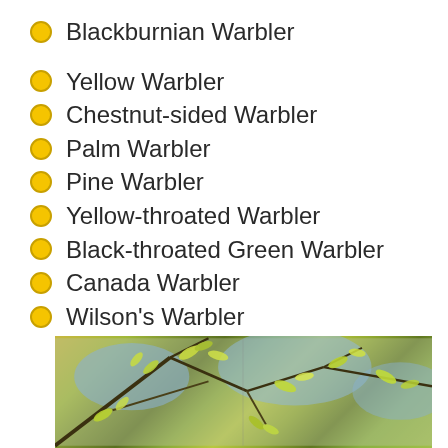Blackburnian Warbler
Yellow Warbler
Chestnut-sided Warbler
Palm Warbler
Pine Warbler
Yellow-throated Warbler
Black-throated Green Warbler
Canada Warbler
Wilson's Warbler
[Figure (photo): Photograph of tree branches with yellow-green leaves and birds, showing warblers in natural habitat]